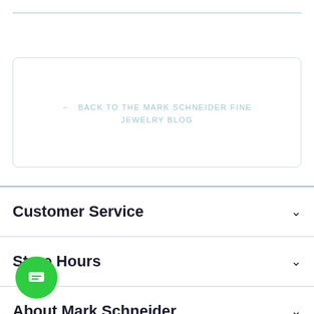← BACK TO THE MARK SCHNEIDER FINE JEWELRY BLOG
Customer Service
Store Hours
About Mark Schneider
[Figure (illustration): Green circular chat button with message lines icon]